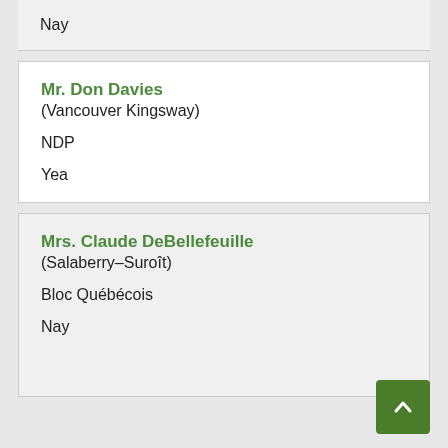Nay
Mr. Don Davies
(Vancouver Kingsway)
NDP
Yea
Mrs. Claude DeBellefeuille
(Salaberry–Suroît)
Bloc Québécois
Nay